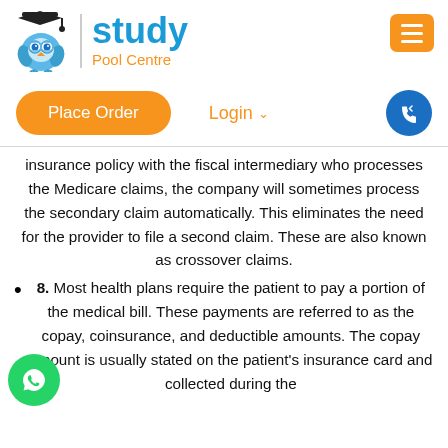[Figure (logo): Study Pool Centre logo with owl mascot wearing graduation cap, blue owl illustration, site name 'study' in blue and 'Pool Centre' in orange, hamburger menu button in orange top right]
[Figure (other): Navigation bar with orange 'Place Order' pill button, orange 'Login' dropdown text, and blue circular phone icon button]
insurance policy with the fiscal intermediary who processes the Medicare claims, the company will sometimes process the secondary claim automatically. This eliminates the need for the provider to file a second claim. These are also known as crossover claims.
8. Most health plans require the patient to pay a portion of the medical bill. These payments are referred to as the copay, coinsurance, and deductible amounts. The copay amount is usually stated on the patient's insurance card and collected during the